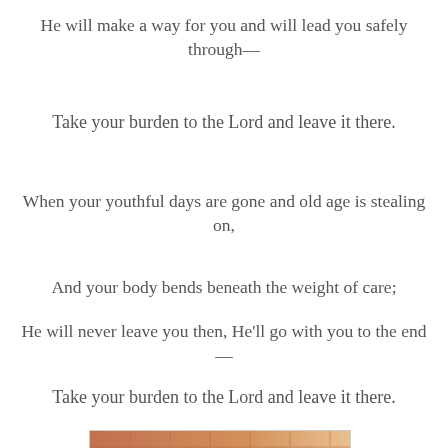He will make a way for you and will lead you safely through—
Take your burden to the Lord and leave it there.
When your youthful days are gone and old age is stealing on,
And your body bends beneath the weight of care;
He will never leave you then, He'll go with you to the end—
Take your burden to the Lord and leave it there.
[Figure (photo): Photo of a brick church building sign reading 'URCH OF TH' (partial text visible), warm reddish-brown brick with light lettering]